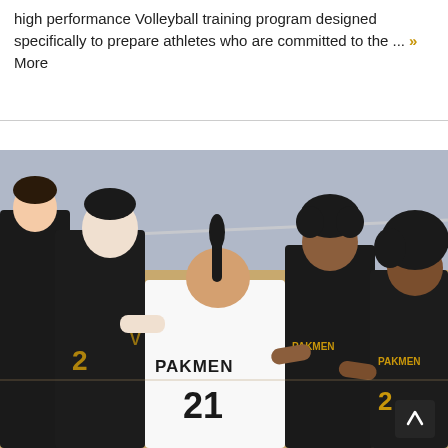high performance Volleyball training program designed specifically to prepare athletes who are committed to the ... > More
[Figure (photo): Group of volleyball players in a huddle on a gym court. One player in the center wears a white jersey reading 'PAKMEN 21', surrounded by teammates in black 'PAKMEN' jerseys. Players have arms around each other's shoulders.]